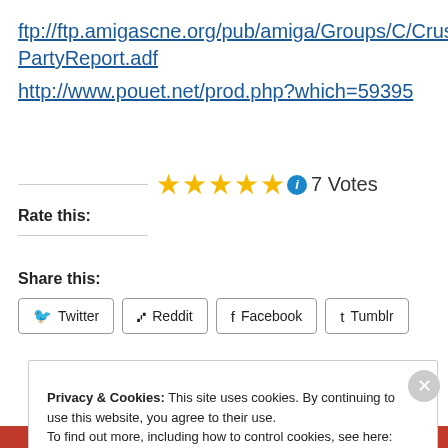ftp://ftp.amigascne.org/pub/amiga/Groups/C/Crusa...PartyReport.adf
http://www.pouet.net/prod.php?which=59395
[Figure (other): 5 gold star rating with info icon, showing 7 Votes]
Rate this:
Share this:
[Figure (other): Social share buttons: Twitter, Reddit, Facebook, Tumblr]
Privacy & Cookies: This site uses cookies. By continuing to use this website, you agree to their use.
To find out more, including how to control cookies, see here: Cookie Policy
Close and accept